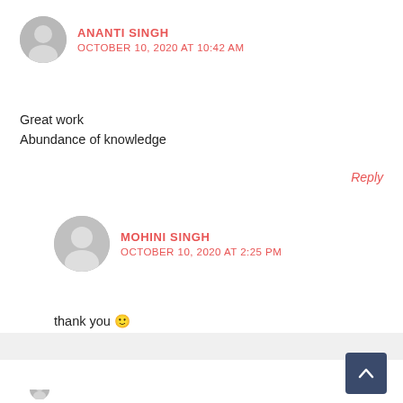ANANTI SINGH
OCTOBER 10, 2020 AT 10:42 AM
Great work
Abundance of knowledge
Reply
MOHINI SINGH
OCTOBER 10, 2020 AT 2:25 PM
thank you 🙂
Reply